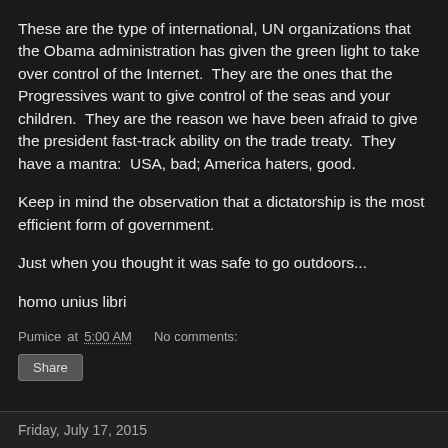These are the type of international, UN organizations that the Obama administration has given the green light to take over control of the Internet.  They are the ones that the Progressives want to give control of the seas and your children.  They are the reason we have been afraid to give the president fast-track ability on the trade treaty.  They have a mantra:  USA, bad; America haters, good.
Keep in mind the observation that a dictatorship is the most efficient form of government.
Just when you thought it was safe to go outdoors...
homo unius libri
Pumice at 5:00 AM    No comments:
Friday, July 17, 2015